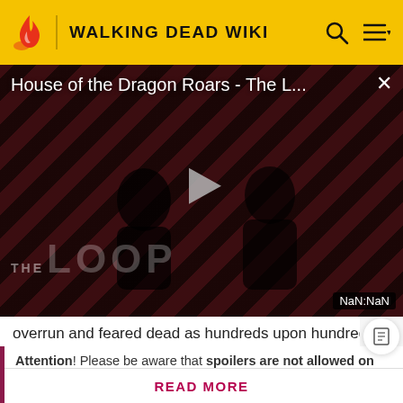WALKING DEAD WIKI
[Figure (screenshot): Video player showing 'House of the Dragon Roars - The L...' with diagonal red/dark stripe background, silhouette figures, play button, THE LOOP branding, and NaN:NaN timestamp badge]
overrun and feared dead as hundreds upon hundreds of
Attention! Please be aware that spoilers are not allowed on the wiki and a violation of this policy may result in a ban.
READ MORE